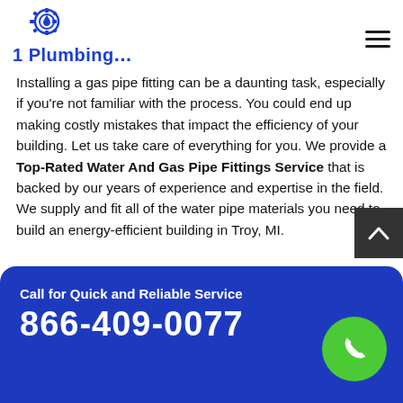1 Plumbing...
Installing a gas pipe fitting can be a daunting task, especially if you're not familiar with the process. You could end up making costly mistakes that impact the efficiency of your building. Let us take care of everything for you. We provide a Top-Rated Water And Gas Pipe Fittings Service that is backed by our years of experience and expertise in the field. We supply and fit all of the water pipe materials you need to build an energy-efficient building in Troy, MI.
Call for Quick and Reliable Service
866-409-0077